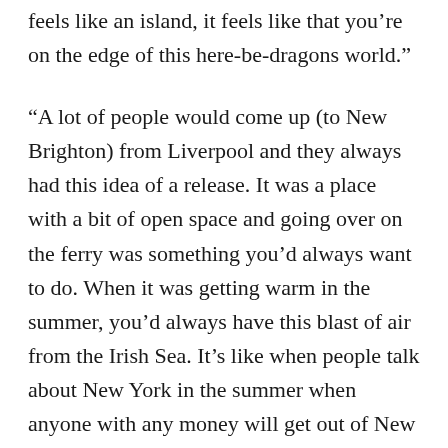feels like an island, it feels like that you’re on the edge of this here-be-dragons world.”
“A lot of people would come up (to New Brighton) from Liverpool and they always had this idea of a release. It was a place with a bit of open space and going over on the ferry was something you’d always want to do. When it was getting warm in the summer, you’d always have this blast of air from the Irish Sea. It’s like when people talk about New York in the summer when anyone with any money will get out of New York, and if not they’ll find somewhere with a little bit of peace and cooler air. That was